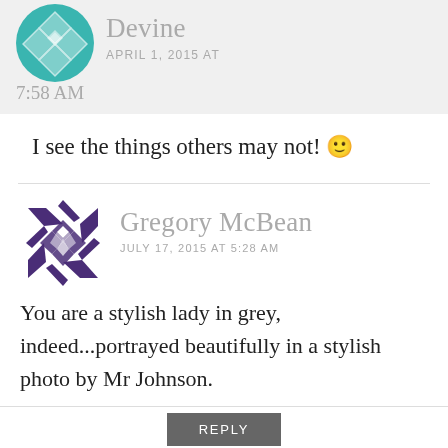[Figure (illustration): Teal geometric quilt-pattern avatar icon, partially cropped at top]
Devine
APRIL 1, 2015 AT
7:58 AM
I see the things others may not! 🙂
[Figure (illustration): Purple geometric quilt-pattern avatar icon]
Gregory McBean
JULY 17, 2015 AT 5:28 AM
You are a stylish lady in grey, indeed...portrayed beautifully in a stylish photo by Mr Johnson.
REPLY